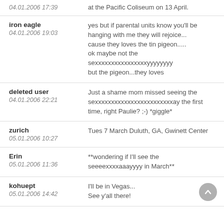04.01.2006 17:39 | at the Pacific Coliseum on 13 April.
iron eagle
04.01.2006 19:03 | yes but if parental units know you'll be hanging with me they will rejoice...
cause they loves the tin pigeon.....
ok maybe not the sexxxxxxxxxxxxxxxxyyyyyyyy
but the pigeon...they loves
deleted user
04.01.2006 22:21 | Just a shame mom missed seeing the sexxxxxxxxxxxxxxxxxxxxxxxxay the first time, right Paulie? ;-) *giggle*
zurich
05.01.2006 10:27 | Tues 7 March Duluth, GA, Gwinett Center
Erin
05.01.2006 11:36 | **wondering if I'll see the seeeexxxxaaayyyy in March**
kohuept
05.01.2006 14:42 | I'll be in Vegas...
See y'all there!